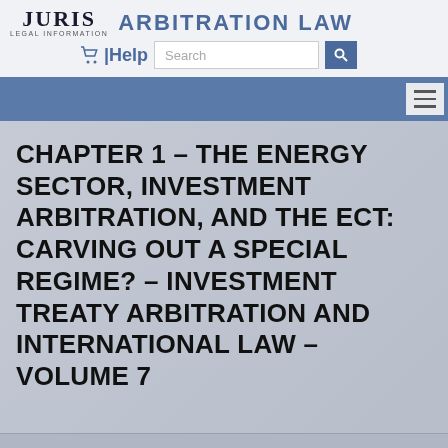JURIS LEGAL INFORMATION — ARBITRATION LAW
[Figure (screenshot): Juris Legal Information logo with shopping cart, Help link, search bar, and hamburger navigation menu on a grey and blue banner]
CHAPTER 1 – THE ENERGY SECTOR, INVESTMENT ARBITRATION, AND THE ECT: CARVING OUT A SPECIAL REGIME? – INVESTMENT TREATY ARBITRATION AND INTERNATIONAL LAW – VOLUME 7